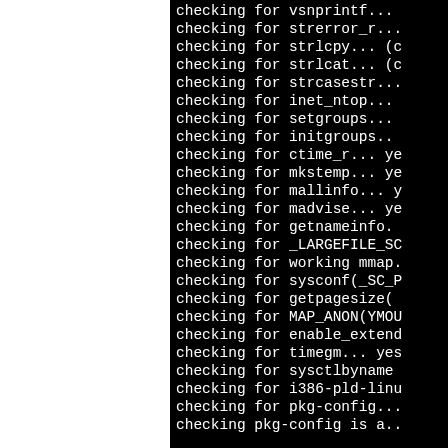[Figure (screenshot): Terminal/console output showing a series of 'checking for ...' configure script lines on a black background. The left portion of the page is white (cropped area). Lines include checks for vsnprintf, strerror_r, strlcpy, strlcat, strcasestr, inet_ntop, setgroups, initgroups, ctime_r, mkstemp, mallinfo, madvise, getnameinfo, _LARGEFILE_SO, working mmap, sysconf(_SC_P, getpagesize(), MAP_ANON(YMOU, enable_extenc, timegm, sysctlbyname, i386-pld-linu, pkg-config, pkg-config is a...]